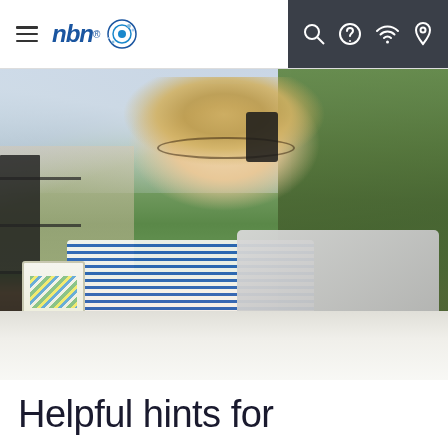nbn® (navigation bar with hamburger menu and icons for search, help, wifi, location)
[Figure (photo): Woman with glasses smiling while talking on a mobile phone, sitting at an outdoor balcony table with a laptop and a decorative mug, with green foliage wall in the background]
Helpful hints for